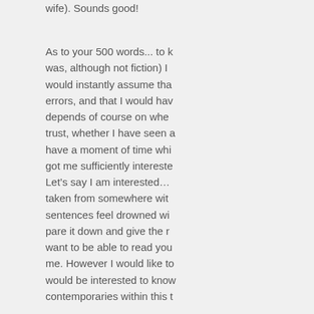wife). Sounds good!
As to your 500 words... to k was, although not fiction) I would instantly assume tha errors, and that I would hav depends of course on whe trust, whether I have seen a have a moment of time whi got me sufficiently intereste
Let's say I am interested... taken from somewhere wit sentences feel drowned wi pare it down and give the r want to be able to read you me. However I would like to would be interested to know contemporaries within this t
27 October 2009 at 16:58
gyroscope said...
Hi DOT
Yes, that initial tune has b